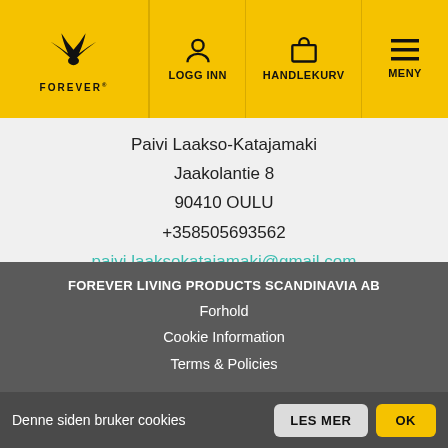FOREVER | LOGG INN | HANDLEKURV | MENY
Paivi Laakso-Katajamaki
Jaakolantie 8
90410 OULU
+358505693562
paivi.laaksokatajamaki@gmail.com
Mine sosiale medier
[Figure (illustration): Facebook and Instagram circular icon buttons (dark grey circles with white icons)]
FOREVER LIVING PRODUCTS SCANDINAVIA AB
Forhold
Cookie Information
Terms & Policies
Denne siden bruker cookies